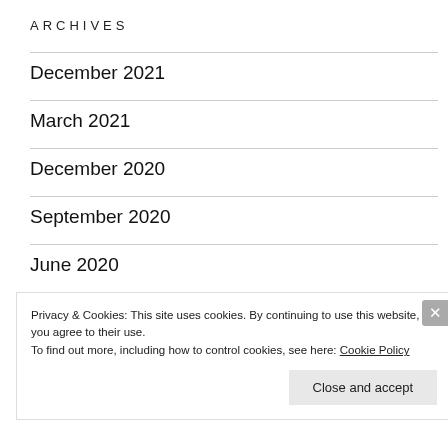ARCHIVES
December 2021
March 2021
December 2020
September 2020
June 2020
February 2020
Privacy & Cookies: This site uses cookies. By continuing to use this website, you agree to their use.
To find out more, including how to control cookies, see here: Cookie Policy
Close and accept